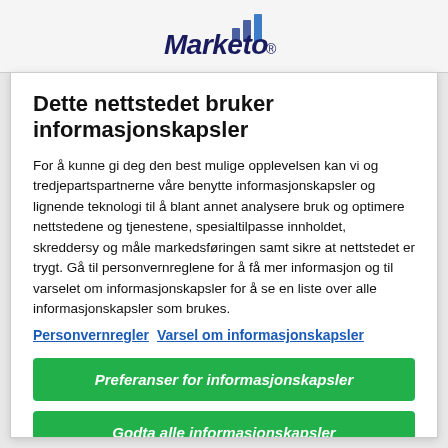Marketo
Dette nettstedet bruker informasjonskapsler
For å kunne gi deg den best mulige opplevelsen kan vi og tredjepartspartnerne våre benytte informasjonskapsler og lignende teknologi til å blant annet analysere bruk og optimere nettstedene og tjenestene, spesialtilpasse innholdet, skreddersy og måle markedsføringen samt sikre at nettstedet er trygt. Gå til personvernreglene for å få mer informasjon og til varselet om informasjonskapsler for å se en liste over alle informasjonskapsler som brukes.
Personvernregler  Varsel om informasjonskapsler
Preferanser for informasjonskapsler
Godta alle informasjonskapsler